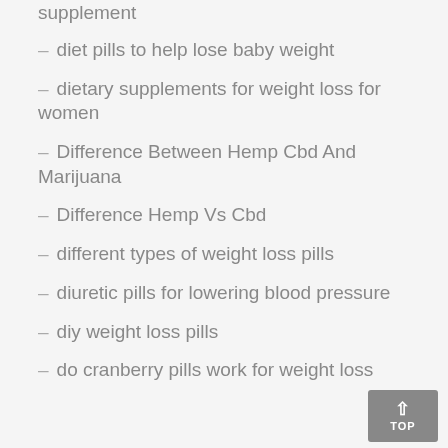supplement
diet pills to help lose baby weight
dietary supplements for weight loss for women
Difference Between Hemp Cbd And Marijuana
Difference Hemp Vs Cbd
different types of weight loss pills
diuretic pills for lowering blood pressure
diy weight loss pills
do cranberry pills work for weight loss